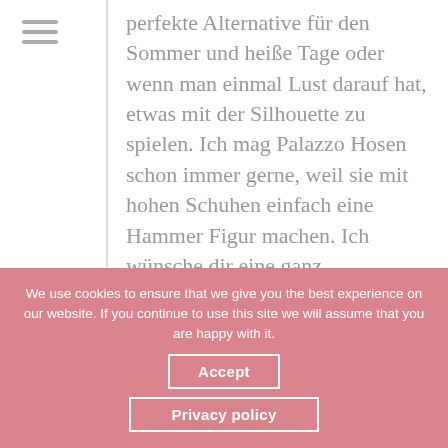perfekte Alternative für den Sommer und heiße Tage oder wenn man einmal Lust darauf hat, etwas mit der Silhouette zu spielen. Ich mag Palazzo Hosen schon immer gerne, weil sie mit hohen Schuhen einfach eine Hammer Figur machen. Ich wünsche dir eine ganz wundervolle Wochenmitte liebe Carmen, allerliebste Grüße, x S.Mirli!
http://www.mirlime.com
We use cookies to ensure that we give you the best experience on our website. If you continue to use this site we will assume that you are happy with it.
Accept
Privacy policy